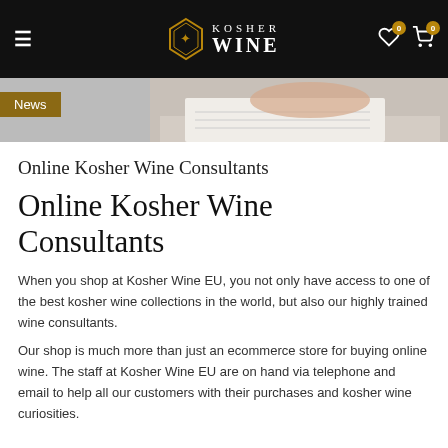KOSHER WINE
[Figure (screenshot): Hero image strip showing a person writing, partially visible, with a 'News' badge overlay on the left]
Online Kosher Wine Consultants
Online Kosher Wine Consultants
When you shop at Kosher Wine EU, you not only have access to one of the best kosher wine collections in the world, but also our highly trained wine consultants.
Our shop is much more than just an ecommerce store for buying online wine. The staff at Kosher Wine EU are on hand via telephone and email to help all our customers with their purchases and kosher wine curiosities.